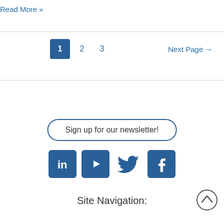Read More »
1  2  3  Next Page →
Sign up for our newsletter!
[Figure (infographic): Social media icons: LinkedIn, YouTube, Twitter, Facebook — all in dark blue square rounded boxes]
Site Navigation: